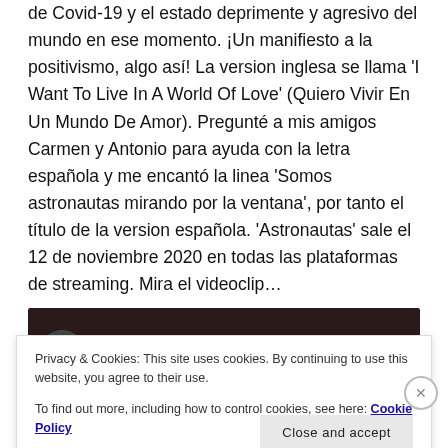de Covid-19 y el estado deprimente y agresivo del mundo en ese momento. ¡Un manifiesto a la positivismo, algo así! La version inglesa se llama 'I Want To Live In A World Of Love' (Quiero Vivir En Un Mundo De Amor). Pregunté a mis amigos Carmen y Antonio para ayuda con la letra española y me encantó la linea 'Somos astronautas mirando por la ventana', por tanto el título de la version española. 'Astronautas' sale el 12 de noviembre 2020 en todas las plataformas de streaming. Mira el videoclip…
[Figure (screenshot): Video thumbnail for 'Astronautas' by Distance Of Hope showing a dark background with a circular avatar of a person wearing sunglasses]
Privacy & Cookies: This site uses cookies. By continuing to use this website, you agree to their use.
To find out more, including how to control cookies, see here: Cookie Policy
Close and accept